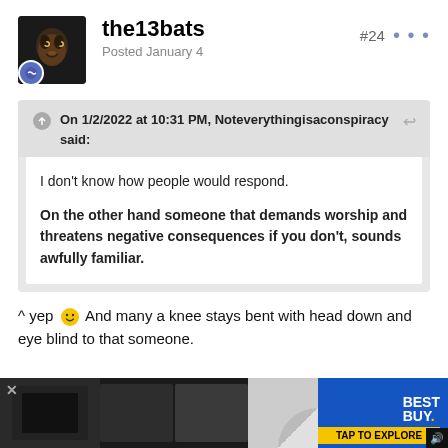the13bats
Posted January 4
#24
On 1/2/2022 at 10:31 PM, Noteverythingisaconspiracy said:
I don't know how people would respond.
On the other hand someone that demands worship and threatens negative consequences if you don't, sounds awfully familiar.
^ yep 🙂 And many a knee stays bent with head down and eye blind to that someone.
[Figure (screenshot): Best Buy advertisement banner at bottom of page with 'TAP TO EXPLORE' call to action]